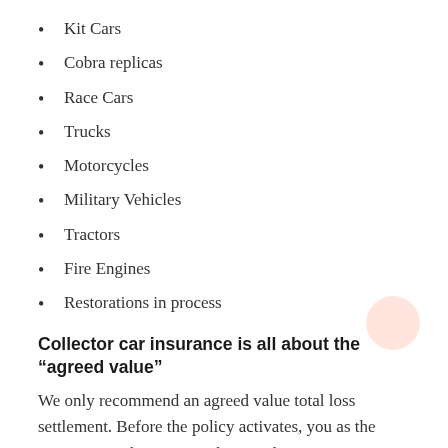Kit Cars
Cobra replicas
Race Cars
Trucks
Motorcycles
Military Vehicles
Tractors
Fire Engines
Restorations in process
Collector car insurance is all about the “agreed value”
We only recommend an agreed value total loss settlement. Before the policy activates, you as the car’s owner, the agent, and our underwriters agree on the car’s value and insure it for that amount. In the